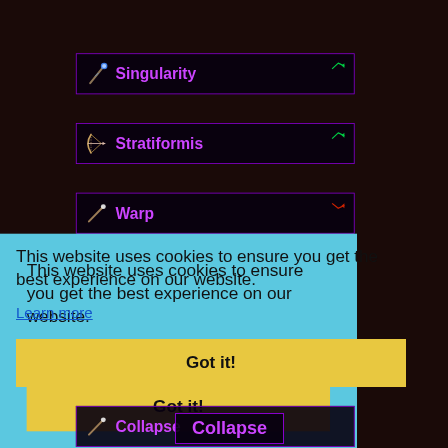[Figure (screenshot): Game interface showing three weapon/item rows: Singularity (purple text, staff icon, green up arrow), Stratiformis (purple text, bow icon, green up arrow), Warp (purple text, wand icon, red down arrow). Dark background with purple-bordered item boxes.]
This website uses cookies to ensure you get the best experience on our website.
Learn more
Got it!
Collapse